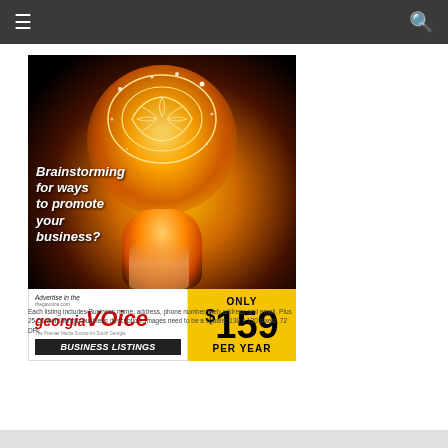Navigation bar with menu and search icons
[Figure (illustration): Advertisement for Georgia Voice Business Listings showing a glowing lightbulb with a brain inside, text 'Brainstorming for ways to promote your business?', Georgia Voice logo, Business Listings banner, and pricing: ONLY $159 PER YEAR]
Each listing includes Business name, address, phone number, web address and email. Plus 25-50 word-length business description. Images need to be a square: 130 x 130 pixels, 72 DPI.